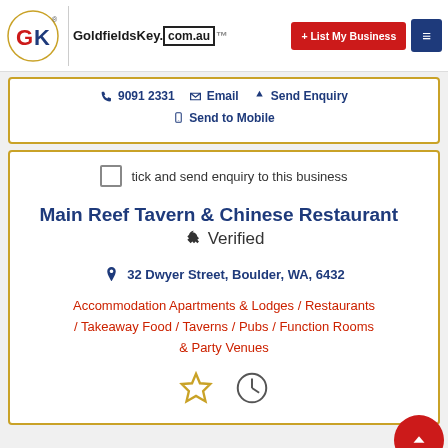GoldfieldsKey.com.au — List My Business
9091 2331 / Email / Send Enquiry / Send to Mobile
tick and send enquiry to this business
Main Reef Tavern & Chinese Restaurant — Verified
32 Dwyer Street, Boulder, WA, 6432
Accommodation Apartments & Lodges / Restaurants / Takeaway Food / Taverns / Pubs / Function Rooms & Party Venues